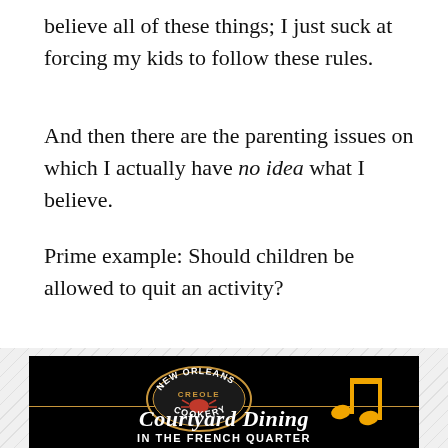believe all of these things; I just suck at forcing my kids to follow these rules.
And then there are the parenting issues on which I actually have no idea what I believe.
Prime example: Should children be allowed to quit an activity?
[Figure (advertisement): New Orleans Creole Cookery advertisement showing logo oval with crawfish, musical notes in gold, and text 'Courtyard Dining IN THE FRENCH QUARTER' on black background with diagonal hatching border]